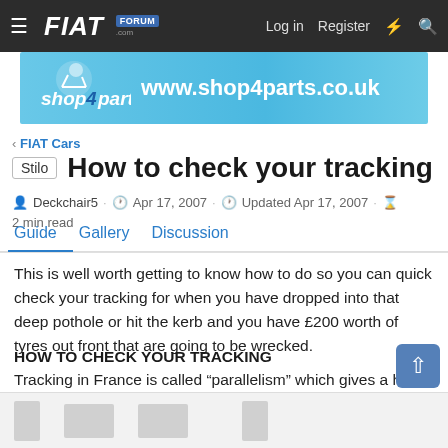FIAT Forum — Log in | Register
[Figure (screenshot): shop4parts.co.uk advertisement banner with logo and URL www.shop4parts.couk on blue background]
< FIAT Cars
Stilo  How to check your tracking
Deckchair5 · Apr 17, 2007 · Updated Apr 17, 2007 · 2 min read
Guide   Gallery   Discussion
This is well worth getting to know how to do so you can quick check your tracking for when you have dropped into that deep pothole or hit the kerb and you have £200 worth of tyres out front that are going to be wrecked.
HOW TO CHECK YOUR TRACKING
Tracking in France is called “parallelism” which gives a hint of what you are trying to do here
[Figure (screenshot): Bottom thumbnail strip showing four grey placeholder thumbnail images]